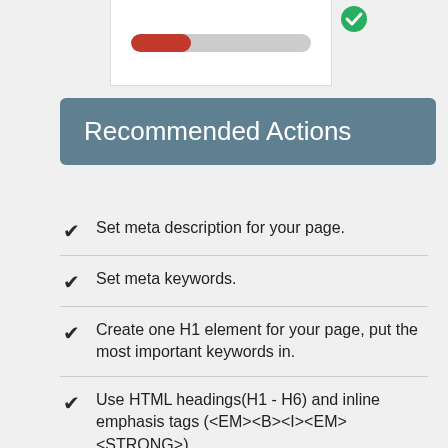[Figure (screenshot): Partial card showing a red progress bar on a grey track, and a green checkmark icon in the upper right corner]
Recommended Actions
Set meta description for your page.
Set meta keywords.
Create one H1 element for your page, put the most important keywords in.
Use HTML headings(H1 - H6) and inline emphasis tags (<EM><B><I><EM><STRONG>).
Add in more high quality text content and make the text to code ration to be within 15%-70%.